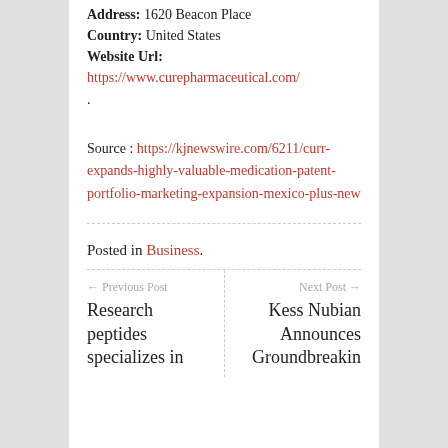Address: 1620 Beacon Place
Country: United States
Website Url:
https://www.curepharmaceutical.com/
.
Source : https://kjnewswire.com/6211/curr-expands-highly-valuable-medication-patent-portfolio-marketing-expansion-mexico-plus-new
Posted in Business.
← Previous Post
Research peptides specializes in
Next Post →
Kess Nubian Announces Groundbreakin